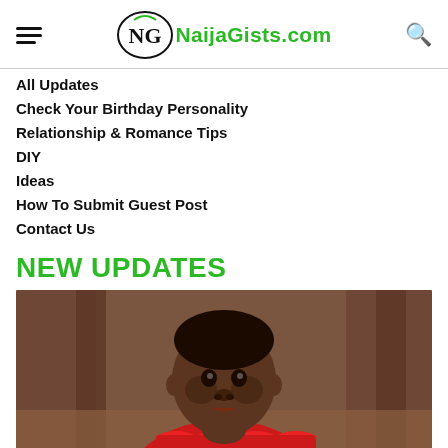NaijaGists.com
All Updates
Check Your Birthday Personality
Relationship & Romance Tips
DIY
Ideas
How To Submit Guest Post
Contact Us
NEW UPDATES
[Figure (photo): Photo of a young African toddler wearing a red ruffled top, looking slightly upward, with a wooden structure in the blurred background.]